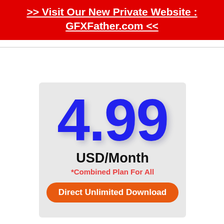>> Visit Our New Private Website : GFXFather.com <<
[Figure (infographic): Pricing box with large blue 4.99 price, USD/Month label, Combined Plan For All subtitle, and orange Direct Unlimited Download button on gray background]